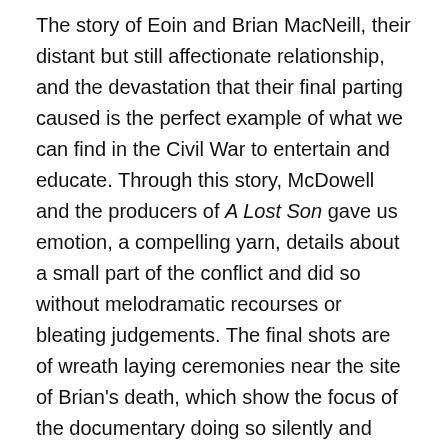The story of Eoin and Brian MacNeill, their distant but still affectionate relationship, and the devastation that their final parting caused is the perfect example of what we can find in the Civil War to entertain and educate. Through this story, McDowell and the producers of A Lost Son gave us emotion, a compelling yarn, details about a small part of the conflict and did so without melodramatic recourses or bleating judgements. The final shots are of wreath laying ceremonies near the site of Brian's death, which show the focus of the documentary doing so silently and without outrage for the way he was shot down. I've harped on that point a lot here, but it is important to me. It's too easy for discussion of revolutionary Ireland to devolve into a game of “My atrocity is worse than yours”. I can tolerate some emotion in a documentary but the core of the matter should be seen as dispassionately as possible. Which is